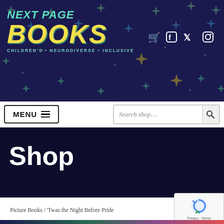[Figure (logo): Next Page Books logo on dark navy starry background with teal and yellow text, tagline: CHILDREN'S • NEURODIVERSE • INCLUSIVE]
[Figure (screenshot): Navigation bar with MENU button and Search shop... search field]
Shop
Picture Books / 'Twas the Night Before Pride
[Figure (screenshot): reCAPTCHA widget with Privacy · Terms text]